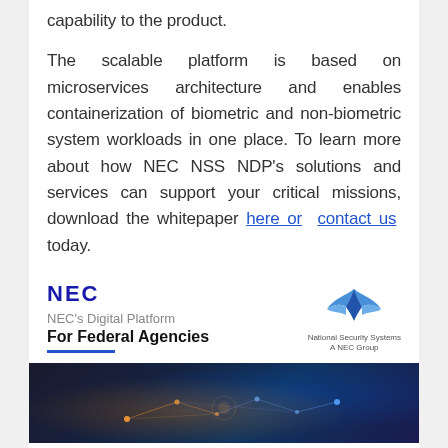capability to the product.
The scalable platform is based on microservices architecture and enables containerization of biometric and non-biometric system workloads in one place. To learn more about how NEC NSS NDP’s solutions and services can support your critical missions, download the whitepaper here or  contact us  today.
[Figure (logo): NEC logo (blue wordmark) and NEC's Digital Platform For Federal Agencies title with blue underline, alongside National Security Systems NEC Group logo (blue wing/bird SVG mark)]
[Figure (photo): Dark technology photo showing network connections, hands, and glowing digital elements in blue and orange tones]